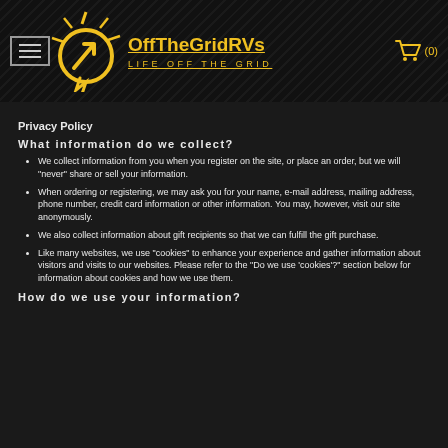OffTheGridRVs LIFE OFF THE GRID
Privacy Policy
What information do we collect?
We collect information from you when you register on the site, or place an order, but we will "never" share or sell your information.
When ordering or registering, we may ask you for your name, e-mail address, mailing address, phone number, credit card information or other information. You may, however, visit our site anonymously.
We also collect information about gift recipients so that we can fulfill the gift purchase.
Like many websites, we use "cookies" to enhance your experience and gather information about visitors and visits to our websites. Please refer to the "Do we use 'cookies'?" section below for information about cookies and how we use them.
How do we use your information?